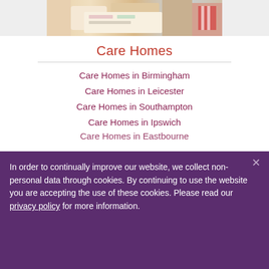[Figure (photo): Top cropped photo showing people doing arts and crafts or painting activity at a table]
Care Homes
Care Homes in Birmingham
Care Homes in Leicester
Care Homes in Southampton
Care Homes in Ipswich
Care Homes in Eastbourne
In order to continually improve our website, we collect non-personal data through cookies. By continuing to use the website you are accepting the use of these cookies. Please read our privacy policy for more information.